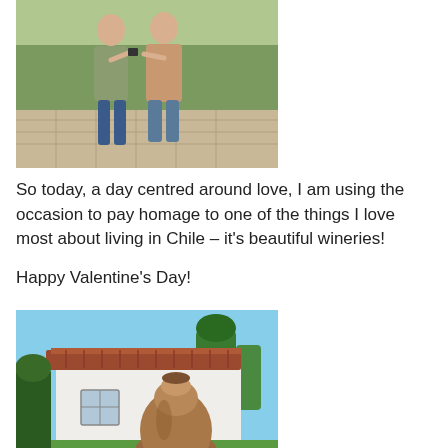[Figure (photo): Two women standing together outdoors in a formal garden with hedges and stone paving, taking a selfie or posing together.]
So today, a day centred around love, I am using the occasion to pay homage to one of the things I love most about living in Chile – it's beautiful wineries!
Happy Valentine's Day!
[Figure (photo): Outdoor scene at a Chilean winery showing a white building with a terracotta tile roof, a large clay amphora jar on the grass, and surrounding greenery and palm trees under a blue sky.]